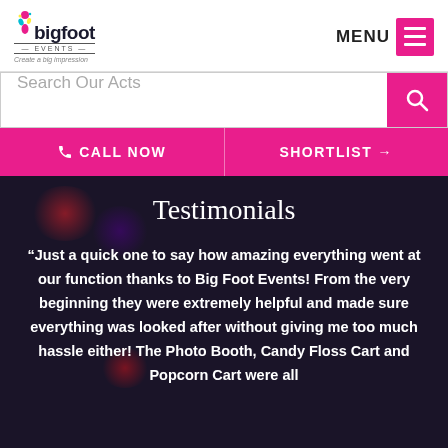[Figure (logo): Bigfoot Events logo with colorful foot icon, text 'bigfoot', 'EVENTS' and tagline 'Create a big impression']
[Figure (screenshot): MENU button with hamburger icon in magenta/pink square]
Search Our Acts
CALL NOW
SHORTLIST →
Testimonials
“Just a quick one to say how amazing everything went at our function thanks to Big Foot Events! From the very beginning they were extremely helpful and made sure everything was looked after without giving me too much hassle either! The Photo Booth, Candy Floss Cart and Popcorn Cart were all